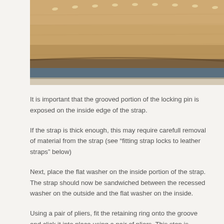[Figure (photo): Close-up photo of a leather strap edge showing texture and stitching, with a blue underlayer visible along the edge.]
It is important that the grooved portion of the locking pin is exposed on the inside edge of the strap.
If the strap is thick enough, this may require carefull removal of material from the strap (see “fitting strap locks to leather straps” below)
Next, place the flat washer on the inside portion of the strap. The strap should now be sandwiched between the recessed washer on the outside and the flat washer on the inside.
Using a pair of pliers, fit the retaining ring onto the groove and click it into place using a pair of pliers. This step is crucial to